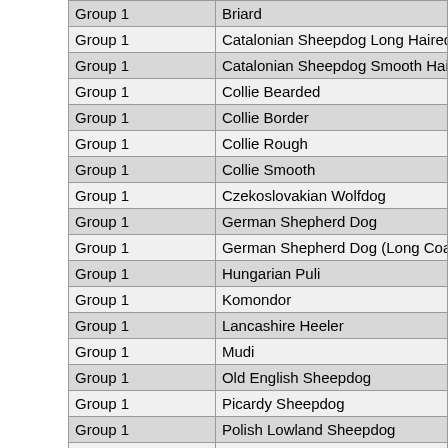| Group | Breed |
| --- | --- |
| Group 1 | Briard |
| Group 1 | Catalonian Sheepdog Long Haired |
| Group 1 | Catalonian Sheepdog Smooth Haired |
| Group 1 | Collie Bearded |
| Group 1 | Collie Border |
| Group 1 | Collie Rough |
| Group 1 | Collie Smooth |
| Group 1 | Czekoslovakian Wolfdog |
| Group 1 | German Shepherd Dog |
| Group 1 | German Shepherd Dog (Long Coat) |
| Group 1 | Hungarian Puli |
| Group 1 | Komondor |
| Group 1 | Lancashire Heeler |
| Group 1 | Mudi |
| Group 1 | Old English Sheepdog |
| Group 1 | Picardy Sheepdog |
| Group 1 | Polish Lowland Sheepdog |
| Group 1 | Pumi |
| Group 1 | Pyrenean Sheepdog Long Haired |
| Group 1 | Pyrenean Sheepdog Smooth Faced |
| Group 1 | Schipperke |
| Group 1 | Shetland Sheepdog |
| Group 1 | South Russian Shepherd Dog |
| Group 1 | Welsh Corgi Cardigan |
| Group 1 | Welsh Corgi Pembroke |
| Group 1 | White Swiss Shepherd Dog |